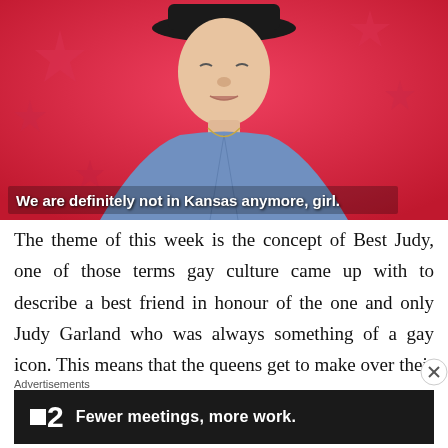[Figure (photo): Person wearing a black hat and denim jacket against a bright pink/red starry background, eyes closed, mouth slightly open, with subtitle text overlay reading 'We are definitely not in Kansas anymore, girl.']
The theme of this week is the concept of Best Judy, one of those terms gay culture came up with to describe a best friend in honour of the one and only Judy Garland who was always something of a gay icon. This means that the queens get to make over their best Judy's, which in some cases just mean their
Advertisements
[Figure (screenshot): Dark advertisement banner: logo showing a small white square followed by '2', tagline reads 'Fewer meetings, more work.']